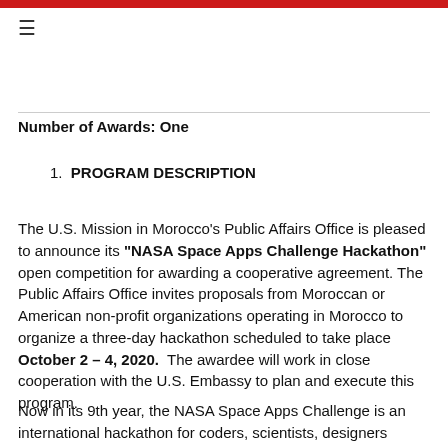≡
Number of Awards: One
1. PROGRAM DESCRIPTION
The U.S. Mission in Morocco's Public Affairs Office is pleased to announce its "NASA Space Apps Challenge Hackathon" open competition for awarding a cooperative agreement. The Public Affairs Office invites proposals from Moroccan or American non-profit organizations operating in Morocco to organize a three-day hackathon scheduled to take place October 2 – 4, 2020.  The awardee will work in close cooperation with the U.S. Embassy to plan and execute this program.
Now in its 9th year, the NASA Space Apps Challenge is an international hackathon for coders, scientists, designers